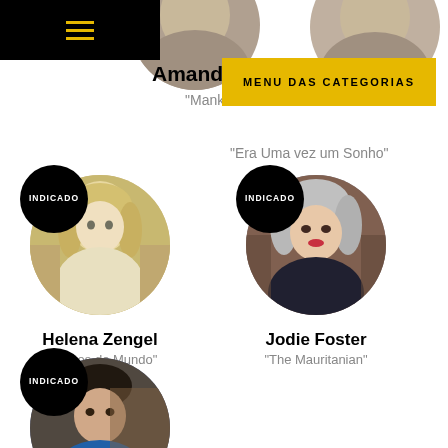☰ (hamburger menu)
Amanda Seyfried
"Mank"
MENU DAS CATEGORIAS
"Era Uma vez um Sonho"
[Figure (photo): Helena Zengel circular photo with INDICADO badge]
Helena Zengel
"Relatos do Mundo"
[Figure (photo): Jodie Foster circular photo with INDICADO badge]
Jodie Foster
"The Mauritanian"
[Figure (photo): Bottom actor circular photo with INDICADO badge, partially visible]